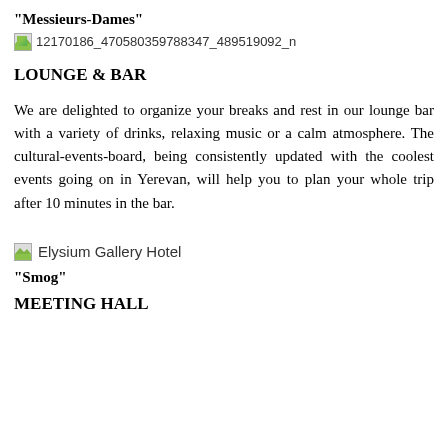“Messieurs-Dames”
[Figure (photo): Broken image placeholder with filename 12170186_470580359788347_489519092_n]
LOUNGE & BAR
We are delighted to organize your breaks and rest in our lounge bar with a variety of drinks, relaxing music or a calm atmosphere. The cultural-events-board, being consistently updated with the coolest events going on in Yerevan, will help you to plan your whole trip after 10 minutes in the bar.
[Figure (photo): Broken image placeholder labeled Elysium Gallery Hotel]
“Smog”
MEETING HALL